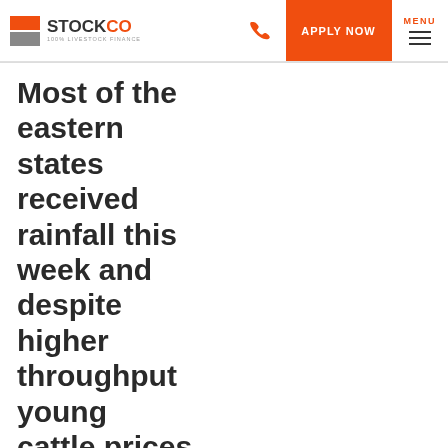STOCKCO — 100% LIVESTOCK FINANCE | APPLY NOW | MENU
Most of the eastern states received rainfall this week and despite higher throughput young cattle prices continued to climb, with the benchmark